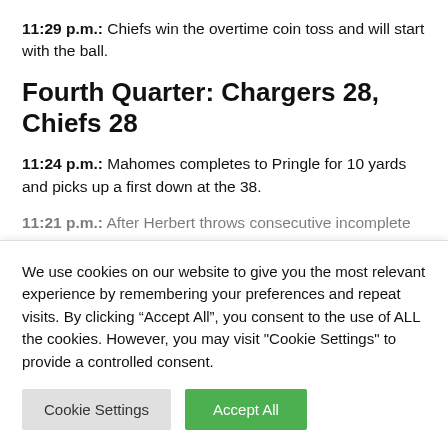11:29 p.m.: Chiefs win the overtime coin toss and will start with the ball.
Fourth Quarter: Chargers 28, Chiefs 28
11:24 p.m.: Mahomes completes to Pringle for 10 yards and picks up a first down at the 38.
11:21 p.m.: After Herbert throws consecutive incomplete...
We use cookies on our website to give you the most relevant experience by remembering your preferences and repeat visits. By clicking “Accept All”, you consent to the use of ALL the cookies. However, you may visit "Cookie Settings" to provide a controlled consent.